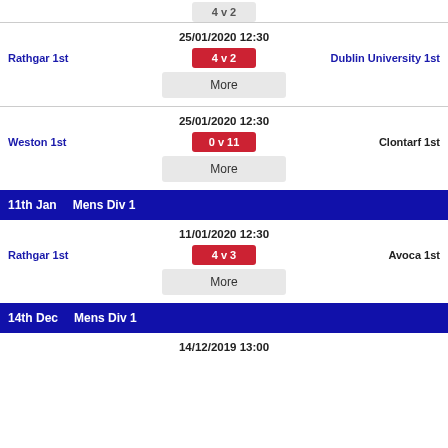25/01/2020 12:30
Rathgar 1st   4 v 2   Dublin University 1st
More
25/01/2020 12:30
Weston 1st   0 v 11   Clontarf 1st
More
11th Jan   Mens Div 1
11/01/2020 12:30
Rathgar 1st   4 v 3   Avoca 1st
More
14th Dec   Mens Div 1
14/12/2019 13:00